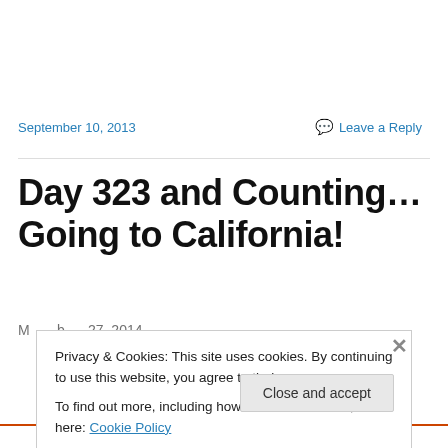September 10, 2013
Leave a Reply
Day 323 and Counting… Going to California!
Privacy & Cookies: This site uses cookies. By continuing to use this website, you agree to their use.
To find out more, including how to control cookies, see here: Cookie Policy
Close and accept